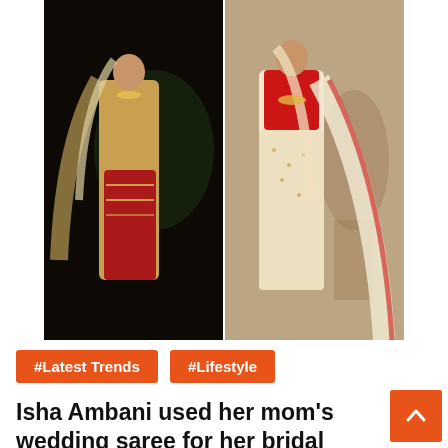[Figure (photo): Two side-by-side bridal photos: left shows a bride in dark background wearing a gold/red embroidered lehenga; right shows a bride in an off-white/cream embroidered lehenga with a long dupatta against stone sculpture background.]
#Latest Trends
#Lifestyle
Isha Ambani used her mom's wedding saree for her bridal lehenga – know